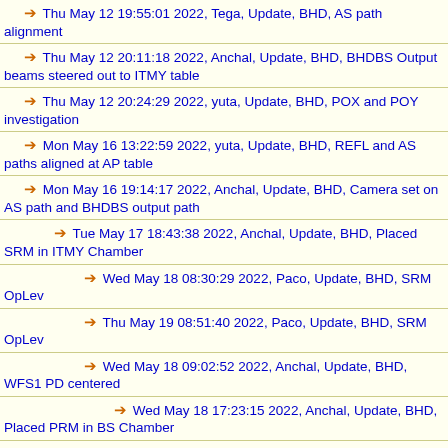Thu May 12 19:55:01 2022, Tega, Update, BHD, AS path alignment
Thu May 12 20:11:18 2022, Anchal, Update, BHD, BHDBS Output beams steered out to ITMY table
Thu May 12 20:24:29 2022, yuta, Update, BHD, POX and POY investigation
Mon May 16 13:22:59 2022, yuta, Update, BHD, REFL and AS paths aligned at AP table
Mon May 16 19:14:17 2022, Anchal, Update, BHD, Camera set on AS path and BHDBS output path
Tue May 17 18:43:38 2022, Anchal, Update, BHD, Placed SRM in ITMY Chamber
Wed May 18 08:30:29 2022, Paco, Update, BHD, SRM OpLev
Thu May 19 08:51:40 2022, Paco, Update, BHD, SRM OpLev
Wed May 18 09:02:52 2022, Anchal, Update, BHD, WFS1 PD centered
Wed May 18 17:23:15 2022, Anchal, Update, BHD, Placed PRM in BS Chamber
Thu May 19 18:56:08 2022, yuta, Update, BHD, Current OSEM sensor values with all the suspensions aligned
Thu May 19 19:05:59 2022, Anchal, Update, BHD, BS Chamber all work finished, BHD path setup
Fri May 20 20:03:48 2022, Paco, Update, BHD, ITMY chamber work finished - LO and AS overlapped
Mon May 23 13:16:59 2022, Paco, Update, BHD, End of vent - checks
Tue May 24 15:21:13 2022, Anchal, Update, BHD, Freeswing